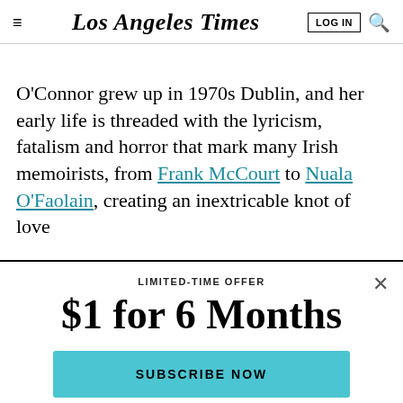Los Angeles Times
O'Connor grew up in 1970s Dublin, and her early life is threaded with the lyricism, fatalism and horror that mark many Irish memoirists, from Frank McCourt to Nuala O'Faolain, creating an inextricable knot of love
LIMITED-TIME OFFER
$1 for 6 Months
SUBSCRIBE NOW
By continuing to use our site, you agree to our Terms of Service and Privacy Policy. You can learn more about how we use cookies by reviewing our Privacy Policy. Close